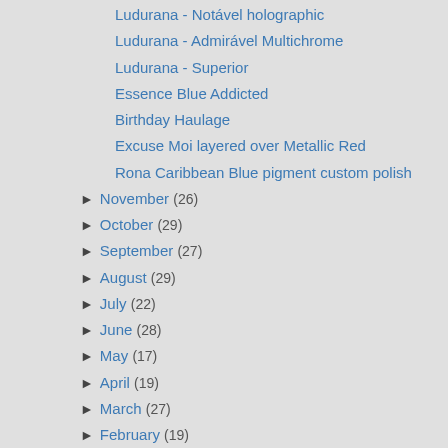Ludurana - Notável holographic
Ludurana - Admirável Multichrome
Ludurana - Superior
Essence Blue Addicted
Birthday Haulage
Excuse Moi layered over Metallic Red
Rona Caribbean Blue pigment custom polish
► November (26)
► October (29)
► September (27)
► August (29)
► July (22)
► June (28)
► May (17)
► April (19)
► March (27)
► February (19)
► January (3)
► 2010 (86)